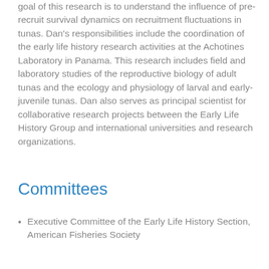goal of this research is to understand the influence of pre-recruit survival dynamics on recruitment fluctuations in tunas. Dan's responsibilities include the coordination of the early life history research activities at the Achotines Laboratory in Panama. This research includes field and laboratory studies of the reproductive biology of adult tunas and the ecology and physiology of larval and early-juvenile tunas. Dan also serves as principal scientist for collaborative research projects between the Early Life History Group and international universities and research organizations.
Committees
Executive Committee of the Early Life History Section, American Fisheries Society